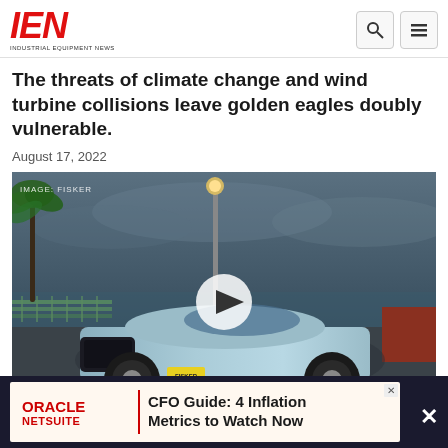IEN - Industrial Equipment News
The threats of climate change and wind turbine collisions leave golden eagles doubly vulnerable.
August 17, 2022
[Figure (photo): A light blue Fisker electric SUV parked near a beach with palm trees and a lamppost. A video play button is overlaid in the center. IMAGE: FISKER credit in top left. VIDEO label in bottom left.]
VIDEO
ORACLE NETSUITE | CFO Guide: 4 Inflation Metrics to Watch Now